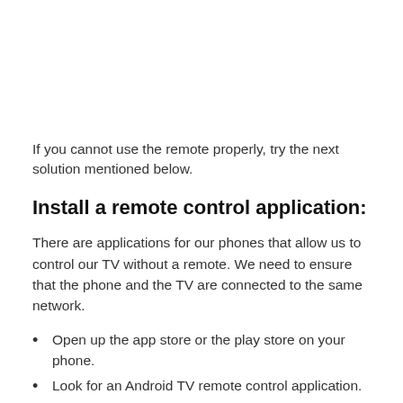If you cannot use the remote properly, try the next solution mentioned below.
Install a remote control application:
There are applications for our phones that allow us to control our TV without a remote. We need to ensure that the phone and the TV are connected to the same network.
Open up the app store or the play store on your phone.
Look for an Android TV remote control application.